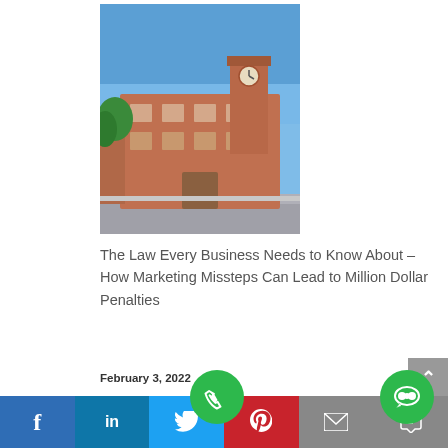[Figure (photo): Photograph of a historic red brick government or law building with a clock tower under a clear blue sky]
The Law Every Business Needs to Know About – How Marketing Missteps Can Lead to Million Dollar Penalties
February 3, 2022
Running Teams And Rostering Made Easy With Deputy
[Figure (infographic): Social media share bar with Facebook, LinkedIn, Twitter, Pinterest, Email, and other icons, plus green phone and chat floating buttons]